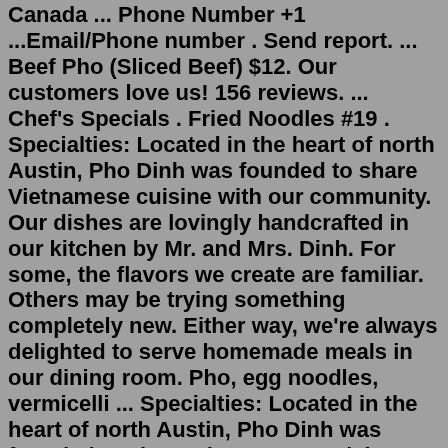Canada ... Phone Number +1 ...Email/Phone number . Send report. ... Beef Pho (Sliced Beef) $12. Our customers love us! 156 reviews. ... Chef's Specials . Fried Noodles #19 . Specialties: Located in the heart of north Austin, Pho Dinh was founded to share Vietnamese cuisine with our community. Our dishes are lovingly handcrafted in our kitchen by Mr. and Mrs. Dinh. For some, the flavors we create are familiar. Others may be trying something completely new. Either way, we're always delighted to serve homemade meals in our dining room. Pho, egg noodles, vermicelli ... Specialties: Located in the heart of north Austin, Pho Dinh was founded to share Vietnamese cuisine with our community. Our dishes are lovingly handcrafted in our kitchen by Mr. and Mrs. Dinh. For some, the flavors we create are familiar. Others may be trying something completely new. Either way, we're always delighted to serve homemade meals in our dining room. Pho, egg noodles, vermicelli ... Appetizers Pho Grill Chef's Special Sandwiches Fried Rice Egg Noodles Pan-